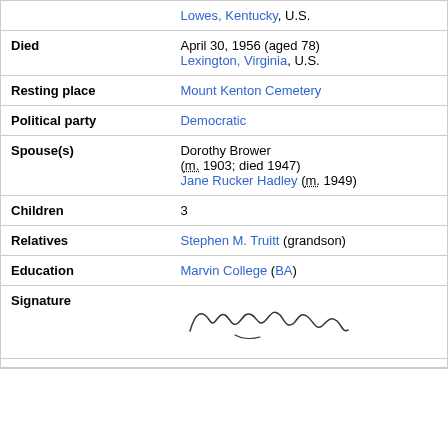| Field | Value |
| --- | --- |
|  | Lowes, Kentucky, U.S. |
| Died | April 30, 1956 (aged 78)
Lexington, Virginia, U.S. |
| Resting place | Mount Kenton Cemetery |
| Political party | Democratic |
| Spouse(s) | Dorothy Brower (m. 1903; died 1947)
Jane Rucker Hadley (m. 1949) |
| Children | 3 |
| Relatives | Stephen M. Truitt (grandson) |
| Education | Marvin College (BA) |
| Signature | [signature image] |